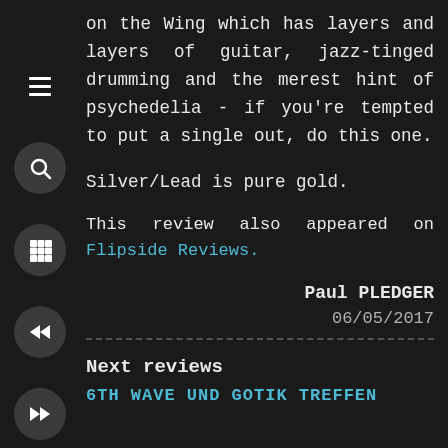on the Wing which has layers and layers of guitar, jazz-tinged drumming and the merest hint of psychedelia - if you're tempted to put a single out, do this one.
Silver/Lead is pure gold.
This review also appeared on Flipside Reviews.
Paul PLEDGER
06/05/2017
Next reviews
6TH WAVE UND GOTIK TREFFEN